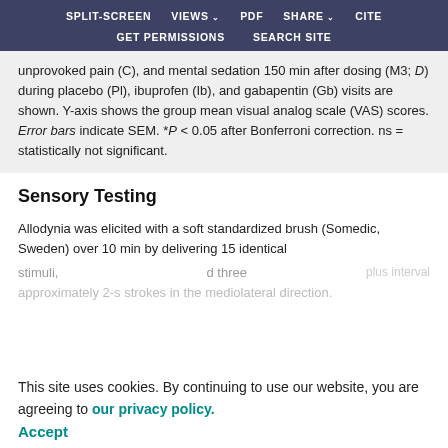SPLIT-SCREEN   VIEWS   PDF   SHARE   CITE   GET PERMISSIONS   SEARCH SITE
unprovoked pain (C), and mental sedation 150 min after dosing (M3; D) during placebo (Pl), ibuprofen (Ib), and gabapentin (Gb) visits are shown. Y-axis shows the group mean visual analog scale (VAS) scores. Error bars indicate SEM. *P < 0.05 after Bonferroni correction. ns = statistically not significant.
Sensory Testing
Allodynia was elicited with a soft standardized brush (Somedic, Sweden) over 10 min by delivering 15 identical
plus interval stimuli three approximately 2-s strokes in the mediolateral direction.
Average pain intensity and unpleasantness ratings d
This site uses cookies. By continuing to use our website, you are agreeing to our privacy policy. Accept